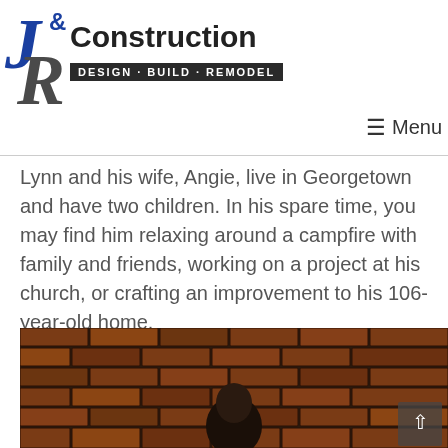[Figure (logo): J&R Construction logo with 'Design Build Remodel' tagline on dark background banner]
Menu
Lynn and his wife, Angie, live in Georgetown and have two children. In his spare time, you may find him relaxing around a campfire with family and friends, working on a project at his church, or crafting an improvement to his 106-year-old home.
[Figure (photo): Person photographed against a brick wall background, partially visible photo cropped at bottom of page]